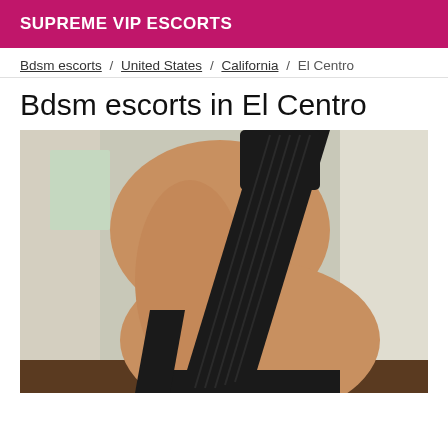SUPREME VIP ESCORTS
Bdsm escorts / United States / California / El Centro
Bdsm escorts in El Centro
[Figure (photo): A woman photographed from the side wearing a black outfit, indoors with curtains in the background.]